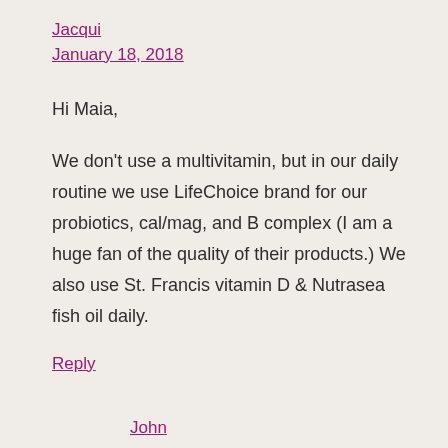Jacqui
January 18, 2018
Hi Maia,
We don't use a multivitamin, but in our daily routine we use LifeChoice brand for our probiotics, cal/mag, and B complex (I am a huge fan of the quality of their products.) We also use St. Francis vitamin D & Nutrasea fish oil daily.
Reply
John